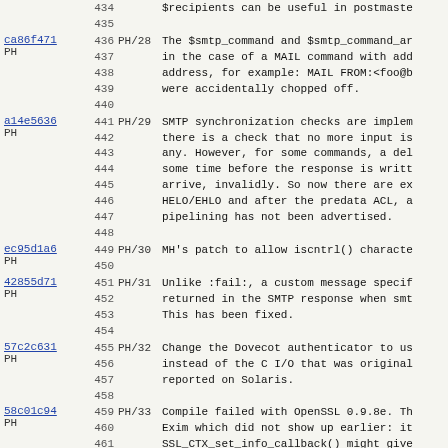434-435 $recipients can be useful in postmaster...
ca86f471 PH 436-440 PH/28 The $smtp_command and $smtp_command_ar in the case of a MAIL command with add address, for example: MAIL FROM:<foo@b were accidentally chopped off.
a14e5636 PH 441-448 PH/29 SMTP synchronization checks are implem there is a check that no more input is any. However, for some commands, a del some time before the response is writt arrive, invalidly. So now there are ex HELO/EHLO and after the predata ACL, a pipelining has not been advertised.
ec95d1a6 PH 449-450 PH/30 MH's patch to allow iscntrl() characte
42855d71 PH 451-454 PH/31 Unlike :fail:, a custom message specif returned in the SMTP response when smt This has been fixed.
57c2c631 PH 455-458 PH/32 Change the Dovecot authenticator to us instead of the C I/O that was original reported on Solaris.
58c01c94 PH 459-466 PH/33 Compile failed with OpenSSL 0.9.8e. Th Exim which did not show up earlier: it SSL_CTX_set_info_callback() might give no error. In previous releases of Open was a macro that became an assignment, changed to a proper function call with error. Exim's code has been fixed.